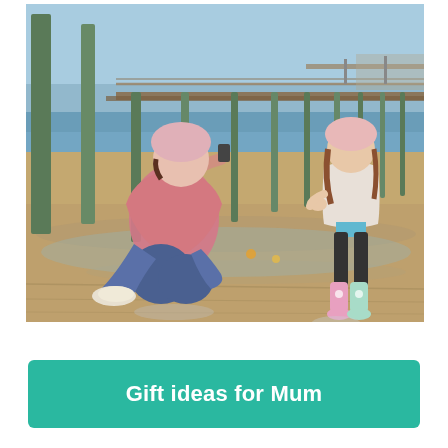[Figure (photo): A mother crouching on a sandy beach near a pier, taking a photo of a young girl wearing pink and white unicorn rain boots. Both are wearing pink/light winter clothing and beanies. The scene is outdoors at a seaside location with a wooden pier in the background.]
Gift ideas for Mum